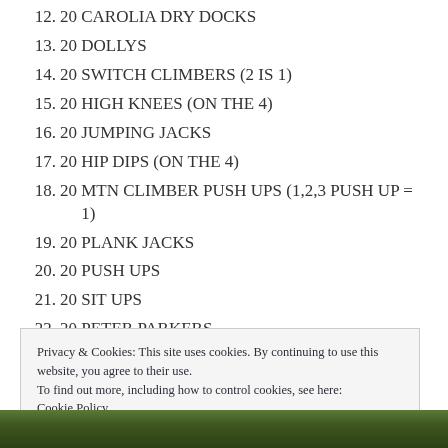12. 20 CAROLIA DRY DOCKS
13. 20 DOLLYS
14. 20 SWITCH CLIMBERS (2 IS 1)
15. 20 HIGH KNEES (ON THE 4)
16. 20 JUMPING JACKS
17. 20 HIP DIPS (ON THE 4)
18. 20 MTN CLIMBER PUSH UPS (1,2,3 PUSH UP = 1)
19. 20 PLANK JACKS
20. 20 PUSH UPS
21. 20 SIT UPS
22. 20 PETER PARKERS
Privacy & Cookies: This site uses cookies. By continuing to use this website, you agree to their use.
To find out more, including how to control cookies, see here:
Cookie Policy
[Figure (photo): Outdoor photo with green foliage/trees at the bottom of the page]